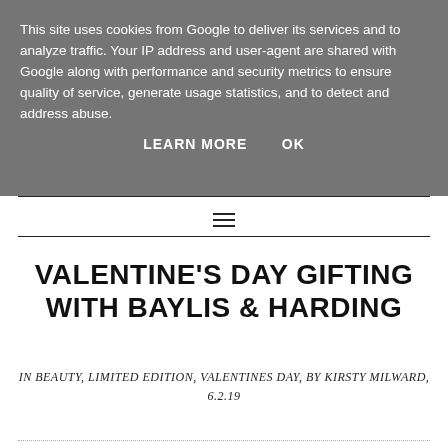This site uses cookies from Google to deliver its services and to analyze traffic. Your IP address and user-agent are shared with Google along with performance and security metrics to ensure quality of service, generate usage statistics, and to detect and address abuse.
LEARN MORE   OK
[Figure (other): Hamburger menu icon (three horizontal lines)]
VALENTINE'S DAY GIFTING WITH BAYLIS & HARDING
IN BEAUTY, LIMITED EDITION, VALENTINES DAY, BY KIRSTY MILWARD, 6.2.19